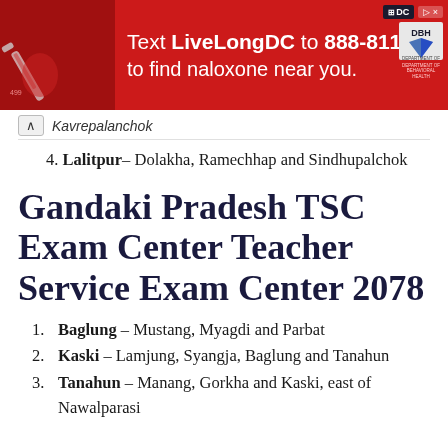[Figure (other): Red advertisement banner: Text LiveLongDC to 888-811 to find naloxone near you, with DC and DHH logos]
Kavrepalanchok
4. Lalitpur – Dolakha, Ramechhap and Sindhupalchok
Gandaki Pradesh TSC Exam Center Teacher Service Exam Center 2078
1. Baglung – Mustang, Myagdi and Parbat
2. Kaski – Lamjung, Syangja, Baglung and Tanahun
3. Tanahun – Manang, Gorkha and Kaski, east of Nawalparasi